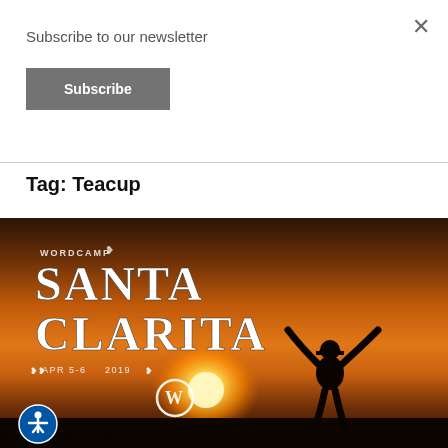Subscribe to our newsletter
Subscribe
Tag: Teacup
[Figure (photo): WordCamp Santa Clarita promotional image with a sunset background showing a silhouette of a person with arms raised, and the WordCamp Santa Clarita logo text with APR 5-6 2019 and WordPress logo]